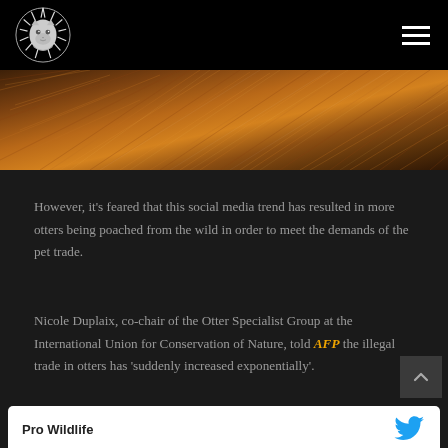Pro Wildlife - navigation header with lion logo
[Figure (photo): Close-up photo of animal fur or hair, brown and golden tones, possibly an otter or similar animal]
However, it's feared that this social media trend has resulted in more otters being poached from the wild in order to meet the demands of the pet trade.
Nicole Duplaix, co-chair of the Otter Specialist Group at the International Union for Conservation of Nature, told AFP the illegal trade in otters has 'suddenly increased exponentially'.
Pro Wildlife